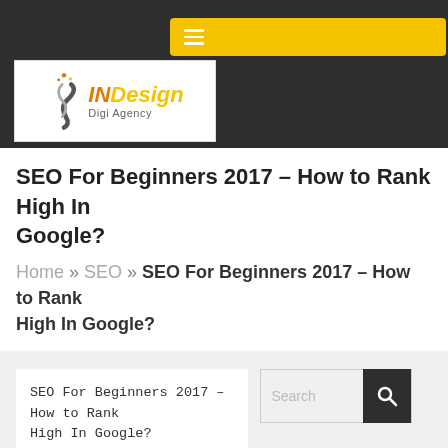INDesign Digi Agency — navigation header with yellow menu bar and logo
SEO For Beginners 2017 – How to Rank High In Google?
Home » SEO » SEO For Beginners 2017 – How to Rank High In Google?
SEO For Beginners 2017 – How to Rank High In Google?
[Figure (screenshot): Search box with magnifying glass icon on dark background]